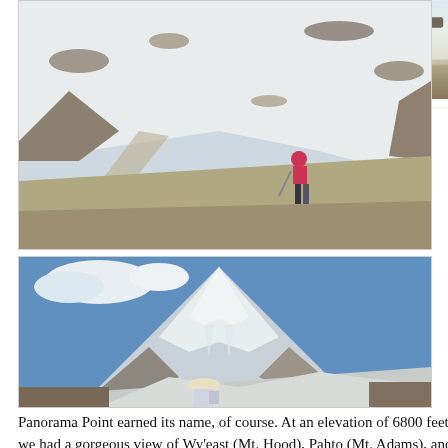[Figure (photo): Person in pink outfit sitting on snowy mountain slope with hiking gear, viewed from above]
[Figure (photo): Person with white hat and backpack sitting on a rock gazing at a large snow-capped mountain (likely Mt. Rainier) under blue sky]
Panorama Point earned its name, of course. At an elevation of 6800 feet, we had a gorgeous view of Wy'east (Mt. Hood), Pahto (Mt. Adams), and Lawetlat'la/Loowit (Mt. Saint Helens). I had no idea that this mountain range had a rich history in Native legends, giving the mountains personalities and relationships.